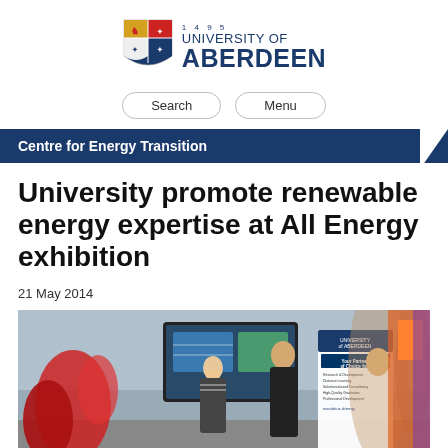[Figure (logo): University of Aberdeen crest/shield logo with text '1495 UNIVERSITY OF ABERDEEN']
Search   Menu
Centre for Energy Transition
University promote renewable energy expertise at All Energy exhibition
21 May 2014
[Figure (photo): Exhibition hall photo showing University of Aberdeen stand with banner 'Your Partner of Choice for:' listing Research & Development, Distance Learning, Solutions-based Consultancy, High-Quality Graduates, Professional Development. People standing at the stand with University of Aberdeen signage visible.]